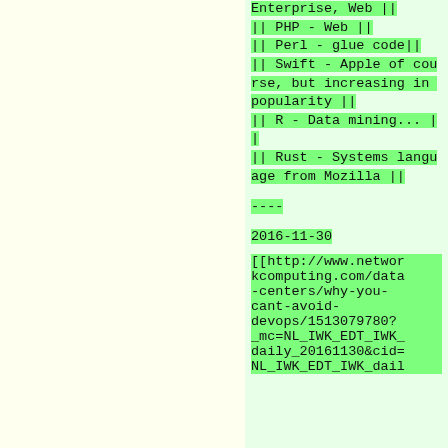Enterprise, Web ||
|| PHP - Web ||
|| Perl - glue code||
|| Swift - Apple of course, but increasing in popularity ||
|| R - Data mining... ||
|| Rust - Systems language from Mozilla ||
----
2016-11-30
[[http://www.networkcomputing.com/data-centers/why-you-cant-avoid-devops/1513079780?_mc=NL_IWK_EDT_IWK_daily_20161130&cid=NL_IWK_EDT_IWK_dail